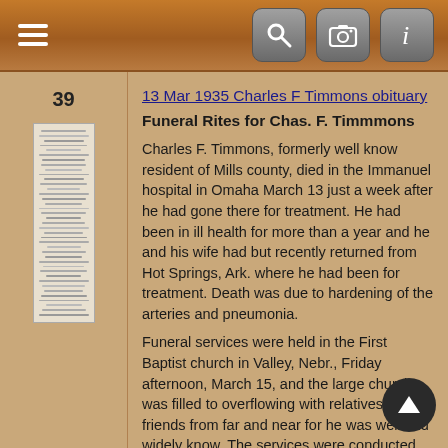Navigation bar with hamburger menu and search, camera, info icons
39
[Figure (photo): Small thumbnail image of a newspaper clipping, vertical orientation, text too small to read]
13 Mar 1935 Charles F Timmons obituary
Funeral Rites for Chas. F. Timmmons
Charles F. Timmons, formerly well know resident of Mills county, died in the Immanuel hospital in Omaha March 13 just a week after he had gone there for treatment. He had been in ill health for more than a year and he and his wife had but recently returned from Hot Springs, Ark. where he had been for treatment. Death was due to hardening of the arteries and pneumonia.
Funeral services were held in the First Baptist church in Valley, Nebr., Friday afternoon, March 15, and the large church was filled to overflowing with relatives and friends from far and near for he was well and widely know. The services were conducted by Dr. M.G. Dametz, pastor of the Presbyterian church,